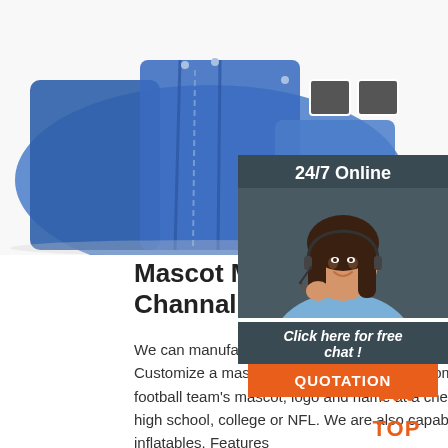[Figure (photo): Blue inflatable tent/arch structure on white background]
[Figure (photo): 24/7 Online chat panel with woman wearing headset, click here for free chat, and QUOTATION button]
Mascot Marlins Inflatable Arch - Channal Inflatables
We can manufacture you a great inflatable mascot arch, this unit is a good proof. Customize a mascot marlins inflatable arch from Channal Inflatables with your football team's mascot, logo and name at a cheap price, no matter your team is high school, college or NFL. We are also capable for other mascot custom inflatables. Features
[Figure (logo): TOP badge in orange with triangle/mountain icon above]